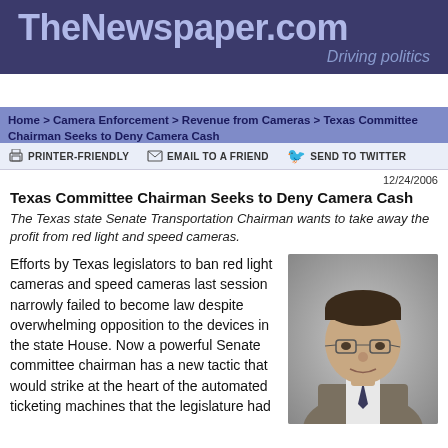TheNewspaper.com — Driving politics
Home > Camera Enforcement > Revenue from Cameras > Texas Committee Chairman Seeks to Deny Camera Cash
PRINTER-FRIENDLY   EMAIL TO A FRIEND   SEND TO TWITTER
12/24/2006
Texas Committee Chairman Seeks to Deny Camera Cash
The Texas state Senate Transportation Chairman wants to take away the profit from red light and speed cameras.
Efforts by Texas legislators to ban red light cameras and speed cameras last session narrowly failed to become law despite overwhelming opposition to the devices in the state House. Now a powerful Senate committee chairman has a new tactic that would strike at the heart of the automated ticketing machines that the legislature had
[Figure (photo): Headshot photo of a man in a suit and tie with glasses]